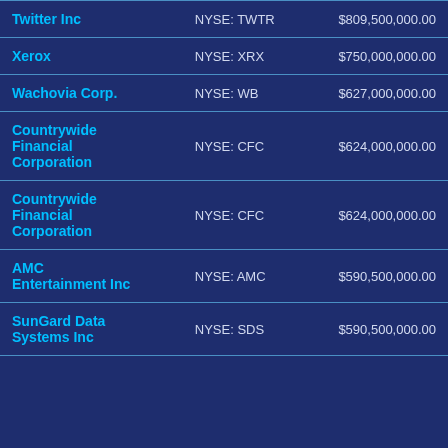| Company | Exchange | Amount |
| --- | --- | --- |
| Twitter Inc | NYSE: TWTR | $809,500,000.00 |
| Xerox | NYSE: XRX | $750,000,000.00 |
| Wachovia Corp. | NYSE: WB | $627,000,000.00 |
| Countrywide Financial Corporation | NYSE: CFC | $624,000,000.00 |
| Countrywide Financial Corporation | NYSE: CFC | $624,000,000.00 |
| AMC Entertainment Inc | NYSE: AMC | $590,500,000.00 |
| SunGard Data Systems Inc | NYSE: SDS | $590,500,000.00 |